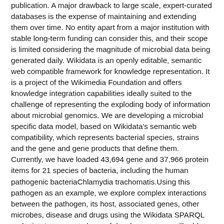publication. A major drawback to large scale, expert-curated databases is the expense of maintaining and extending them over time. No entity apart from a major institution with stable long-term funding can consider this, and their scope is limited considering the magnitude of microbial data being generated daily. Wikidata is an openly editable, semantic web compatible framework for knowledge representation. It is a project of the Wikimedia Foundation and offers knowledge integration capabilities ideally suited to the challenge of representing the exploding body of information about microbial genomics. We are developing a microbial specific data model, based on Wikidata's semantic web compatibility, which represents bacterial species, strains and the gene and gene products that define them. Currently, we have loaded 43,694 gene and 37,966 protein items for 21 species of bacteria, including the human pathogenic bacteriaChlamydia trachomatis.Using this pathogen as an example, we explore complex interactions between the pathogen, its host, associated genes, other microbes, disease and drugs using the Wikidata SPARQL endpoint. In our next phase of development, we will add another 99 bacterial genomes and their gene and gene products, totaling ~900,000 additional entities. This aggregation of knowledge will be a